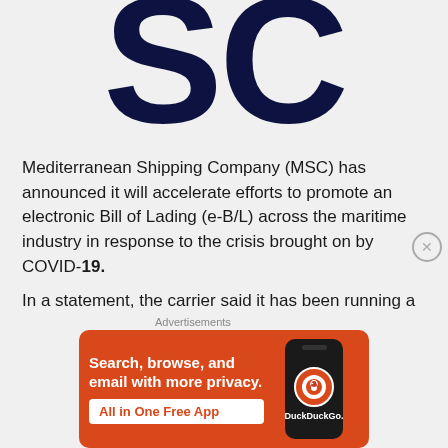[Figure (logo): Partial 'SC' letters of MSC (Mediterranean Shipping Company) logo in dark navy blue, large cropped letterforms]
Mediterranean Shipping Company (MSC) has announced it will accelerate efforts to promote an electronic Bill of Lading (e-B/L) across the maritime industry in response to the crisis brought on by COVID-19.
In a statement, the carrier said it has been running a pilot scheme alongside its third-party blockchain
[Figure (screenshot): DuckDuckGo advertisement banner with orange background showing text 'Search, browse, and email with more privacy. All in One Free App' with a phone graphic and DuckDuckGo logo]